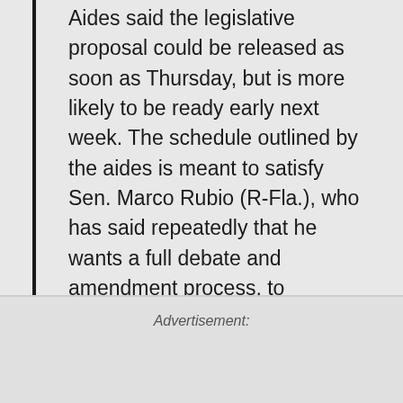Aides said the legislative proposal could be released as soon as Thursday, but is more likely to be ready early next week. The schedule outlined by the aides is meant to satisfy Sen. Marco Rubio (R-Fla.), who has said repeatedly that he wants a full debate and amendment process, to maximize the chances that the final vote is an overwhelming majority.
Advertisement: